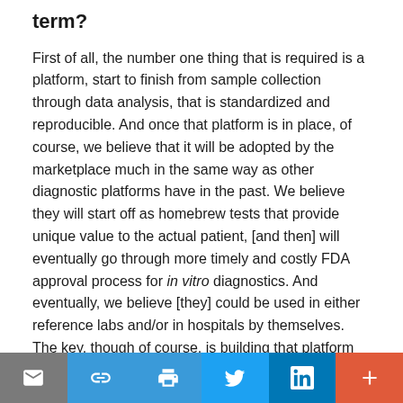term?
First of all, the number one thing that is required is a platform, start to finish from sample collection through data analysis, that is standardized and reproducible. And once that platform is in place, of course, we believe that it will be adopted by the marketplace much in the same way as other diagnostic platforms have in the past. We believe they will start off as homebrew tests that provide unique value to the actual patient, [and then] will eventually go through more timely and costly FDA approval process for in vitro diagnostics. And eventually, we believe [they] could be used in either reference labs and/or in hospitals by themselves. The key, though of course, is building that platform that provides a level of automation, ease of use, and
[social share toolbar: email, link, print, twitter, linkedin, plus]